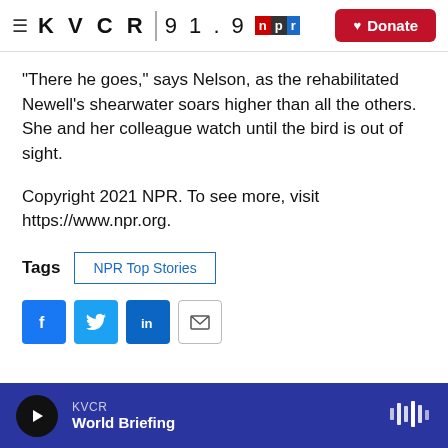KVCR 91.9 NPR | Donate
"There he goes," says Nelson, as the rehabilitated Newell's shearwater soars higher than all the others. She and her colleague watch until the bird is out of sight.
Copyright 2021 NPR. To see more, visit https://www.npr.org.
Tags  NPR Top Stories
[Figure (infographic): Social share buttons: Facebook, Twitter, LinkedIn, Email]
KVCR World Briefing (audio player bar)